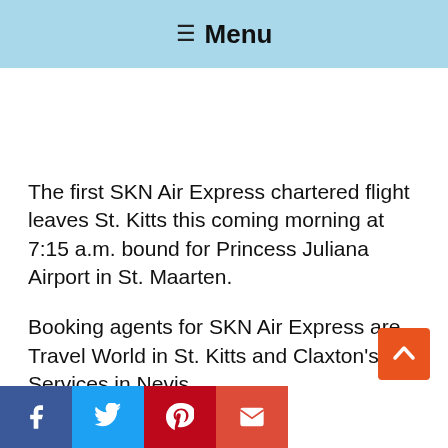≡ Menu
The first SKN Air Express chartered flight leaves St. Kitts this coming morning at 7:15 a.m. bound for Princess Juliana Airport in St. Maarten.
Booking agents for SKN Air Express are Travel World in St. Kitts and Claxton's Services in Nevis